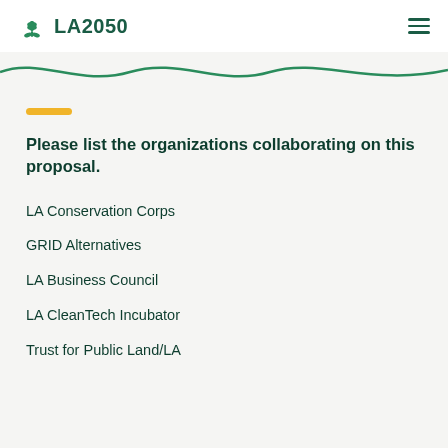LA2050
Please list the organizations collaborating on this proposal.
LA Conservation Corps
GRID Alternatives
LA Business Council
LA CleanTech Incubator
Trust for Public Land/LA